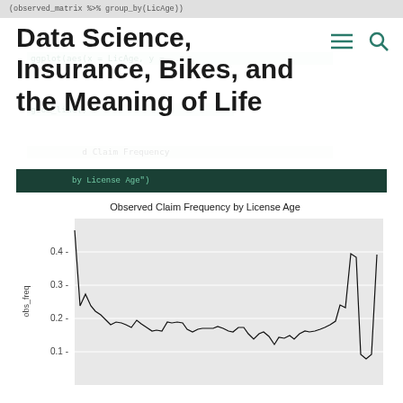(observed_matrix %>% group_by(LicAge))
Data Science, Insurance, Bikes, and the Meaning of Life
ggplot(aes(x = LicAge, y = ...
geom_line() +
"Observed Claim Frequency by License Age"
[Figure (line-chart): Line chart showing observed claim frequency by license age. High frequency around 0.46 at very low license ages, declining steeply then fluctuating around 0.2-0.27 through mid license ages, with sharp spikes up near 0.43 and down near 0.08 at high license ages.]